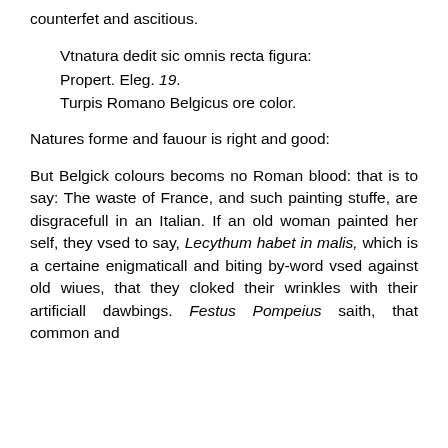counterfet and ascitious.
Vtnatura dedit sic omnis recta figura:
Propert. Eleg. 19.
Turpis Romano Belgicus ore color.
Natures forme and fauour is right and good:
But Belgick colours becoms no Roman blood: that is to say: The waste of France, and such painting stuffe, are disgracefull in an Italian. If an old woman painted her self, they vsed to say, Lecythum habet in malis, which is a certaine enigmaticall and biting by-word vsed against old wiues, that they cloked their wrinkles with their artificiall dawbings. Festus Pompeius saith, that common and